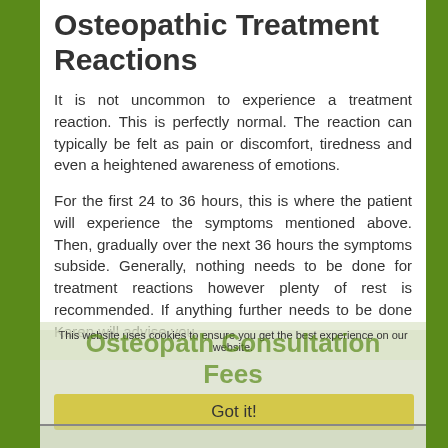Osteopathic Treatment Reactions
It is not uncommon to experience a treatment reaction. This is perfectly normal. The reaction can typically be felt as pain or discomfort, tiredness and even a heightened awareness of emotions.
For the first 24 to 36 hours, this is where the patient will experience the symptoms mentioned above. Then, gradually over the next 36 hours the symptoms subside. Generally, nothing needs to be done for treatment reactions however plenty of rest is recommended. If anything further needs to be done Karen will advise you.
This website uses cookies to ensure you get the best experience on our website.
Osteopath Consultation Fees
Got it!